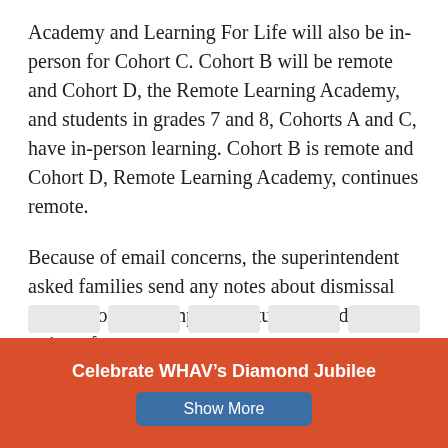Academy and Learning For Life will also be in-person for Cohort C. Cohort B will be remote and Cohort D, the Remote Learning Academy, and students in grades 7 and 8, Cohorts A and C, have in-person learning. Cohort B is remote and Cohort D, Remote Learning Academy, continues remote.
Because of email concerns, the superintendent asked families send any notes about dismissal changes or other important student needs in written form.
Share this:
Celebrate WHAV’s Diamond Jubilee
Show More